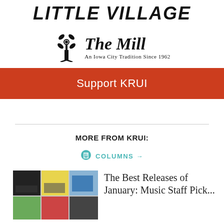[Figure (logo): Little Village publication logo in bold italic uppercase text]
[Figure (logo): The Mill restaurant logo with windmill icon and tagline 'An Iowa City Tradition Since 1962']
Support KRUI
MORE FROM KRUI:
COLUMNS →
[Figure (photo): Collage of album covers for Best Releases of January article]
The Best Releases of January: Music Staff Pick...